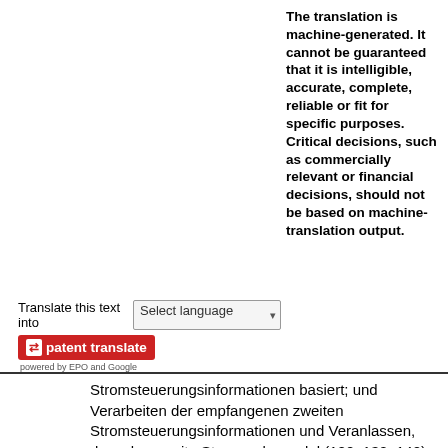The translation is machine-generated. It cannot be guaranteed that it is intelligible, accurate, complete, reliable or fit for specific purposes. Critical decisions, such as commercially relevant or financial decisions, should not be based on machine-translation output.
Translate this text into  [Select language ▾]
[Figure (logo): Patent Translate logo — red box with white arrows icon and 'patenttranslate' text, below it 'powered by EPO and Google']
Stromsteuerungsinformationen basiert; und Verarbeiten der empfangenen zweiten Stromsteuerungsinformationen und Veranlassen, dass das zweite Stromreglermodul (120, 130, 140) elektrischen Strom ausgibt, der wenigstens eine Eigenschaft hat, die auf den empfangenen zweiten